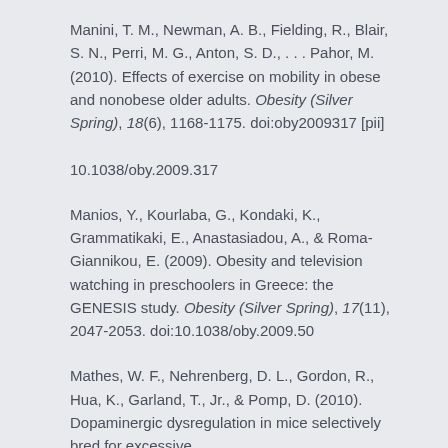Manini, T. M., Newman, A. B., Fielding, R., Blair, S. N., Perri, M. G., Anton, S. D., . . . Pahor, M. (2010). Effects of exercise on mobility in obese and nonobese older adults. Obesity (Silver Spring), 18(6), 1168-1175. doi:oby2009317 [pii]

10.1038/oby.2009.317
Manios, Y., Kourlaba, G., Kondaki, K., Grammatikaki, E., Anastasiadou, A., & Roma-Giannikou, E. (2009). Obesity and television watching in preschoolers in Greece: the GENESIS study. Obesity (Silver Spring), 17(11), 2047-2053. doi:10.1038/oby.2009.50
Mathes, W. F., Nehrenberg, D. L., Gordon, R., Hua, K., Garland, T., Jr., & Pomp, D. (2010). Dopaminergic dysregulation in mice selectively bred for excessive